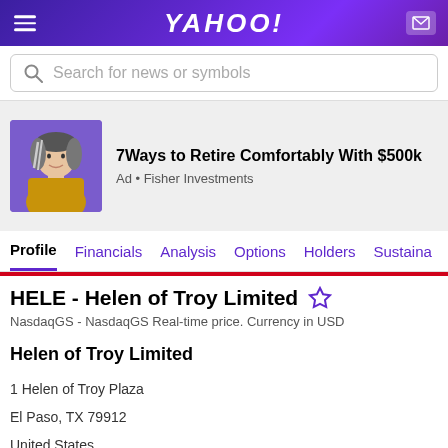YAHOO!
Search for news or symbols
[Figure (photo): Advertisement photo of a woman with gray and black hair wearing a yellow jacket, displayed against a purple background. Ad for Fisher Investments.]
7Ways to Retire Comfortably With $500k
Ad • Fisher Investments
Profile  Financials  Analysis  Options  Holders  Sustaina
HELE - Helen of Troy Limited
NasdaqGS - NasdaqGS Real-time price. Currency in USD
Helen of Troy Limited
1 Helen of Troy Plaza
El Paso, TX 79912
United States